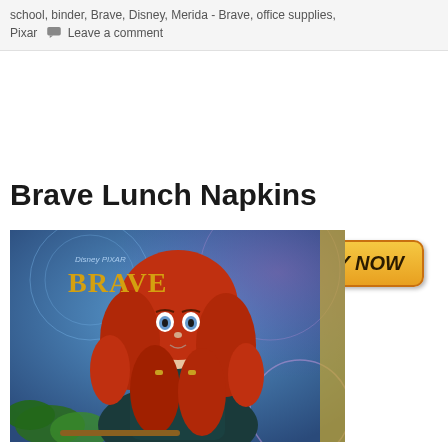school, binder, Brave, Disney, Merida - Brave, office supplies, Pixar  Leave a comment
[Figure (illustration): BUY NOW button with orange/yellow gradient background and dark bold italic text]
Brave Lunch Napkins
[Figure (photo): Merida from Disney Pixar Brave movie - animated character with long curly red hair, wearing dark teal dress, sitting with bow, Disney Pixar Brave logo in upper left, blue and purple decorative background with ferns]